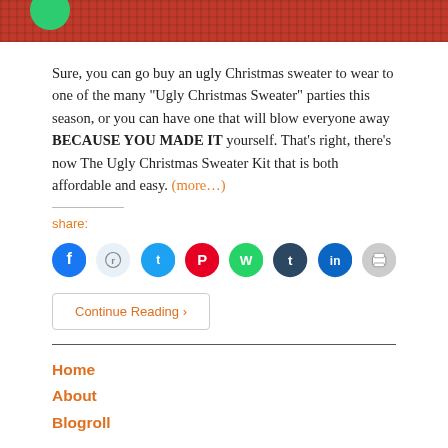[Figure (photo): Christmas-themed banner image with red knit background, green ornament on left, and festive decorations on right]
Sure, you can go buy an ugly Christmas sweater to wear to one of the many “Ugly Christmas Sweater” parties this season, or you can have one that will blow everyone away BECAUSE YOU MADE IT yourself. That’s right, there’s now The Ugly Christmas Sweater Kit that is both affordable and easy. (more…)
share:
[Figure (infographic): Social sharing icon buttons: Facebook (blue), Reddit (light blue/grey), Twitter (cyan), Pinterest (red), WhatsApp (green), Tumblr (dark navy), LinkedIn (blue), Print (grey)]
Continue Reading ›
Home
About
Blogroll